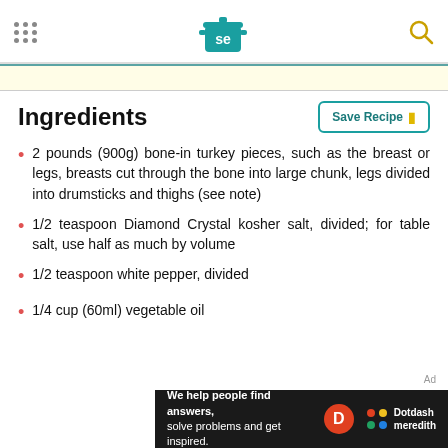Serious Eats header with logo and search icon
Ingredients
2 pounds (900g) bone-in turkey pieces, such as the breast or legs, breasts cut through the bone into large chunk, legs divided into drumsticks and thighs (see note)
1/2 teaspoon Diamond Crystal kosher salt, divided; for table salt, use half as much by volume
1/2 teaspoon white pepper, divided
1/4 cup (60ml) vegetable oil
[Figure (other): Dotdash Meredith advertisement banner: 'We help people find answers, solve problems and get inspired.']